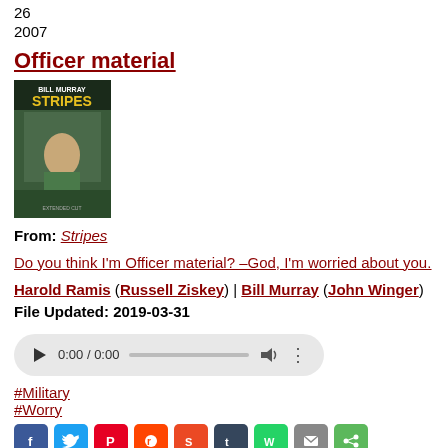26
2007
Officer material
[Figure (photo): DVD cover of Stripes movie featuring Bill Murray]
From: Stripes
Do you think I'm Officer material? –God, I'm worried about you.
Harold Ramis (Russell Ziskey) | Bill Murray (John Winger)
File Updated: 2019-03-31
[Figure (other): Audio player showing 0:00 / 0:00]
#Military
#Worry
[Figure (infographic): Social sharing buttons: Facebook, Twitter, Pinterest, Reddit, StumbleUpon, Tumblr, WhatsApp, Email, Share]